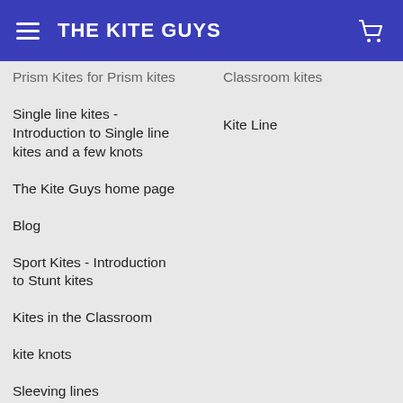THE KITE GUYS
Prism Kites for Prism kites
Classroom kites
Single line kites - Introduction to Single line kites and a few knots
Kite Line
The Kite Guys home page
Blog
Sport Kites - Introduction to Stunt kites
Kites in the Classroom
kite knots
Sleeving lines
Join The AKA